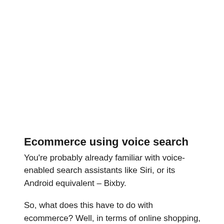Ecommerce using voice search
You're probably already familiar with voice-enabled search assistants like Siri, or its Android equivalent – Bixby.
So, what does this have to do with ecommerce? Well, in terms of online shopping, there will be more and more people who are relying on Siri, Alexa, Google Assistant, or similar apps for shopping purposes. This means that